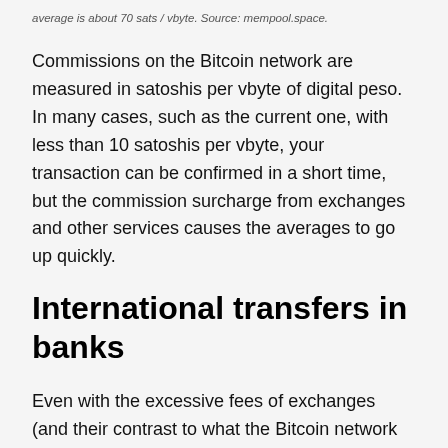average is about 70 sats / vbyte. Source: mempool.space.
Commissions on the Bitcoin network are measured in satoshis per vbyte of digital peso. In many cases, such as the current one, with less than 10 satoshis per vbyte, your transaction can be confirmed in a short time, but the commission surcharge from exchanges and other services causes the averages to go up quickly.
International transfers in banks
Even with the excessive fees of exchanges (and their contrast to what the Bitcoin network actually requires), sending money from these platforms to a third party anywhere in the world using BTC is still less expensive than through many banks, although there are several exceptions.